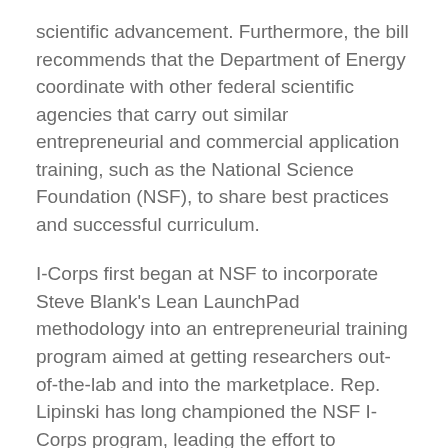scientific advancement. Furthermore, the bill recommends that the Department of Energy coordinate with other federal scientific agencies that carry out similar entrepreneurial and commercial application training, such as the National Science Foundation (NSF), to share best practices and successful curriculum.
I-Corps first began at NSF to incorporate Steve Blank's Lean LaunchPad methodology into an entrepreneurial training program aimed at getting researchers out-of-the-lab and into the marketplace. Rep. Lipinski has long championed the NSF I-Corps program, leading the effort to authorize and expand the successful training program across other agencies.
The Department of Energy began piloting their own version of I-Corps in 2015, bringing cohorts of